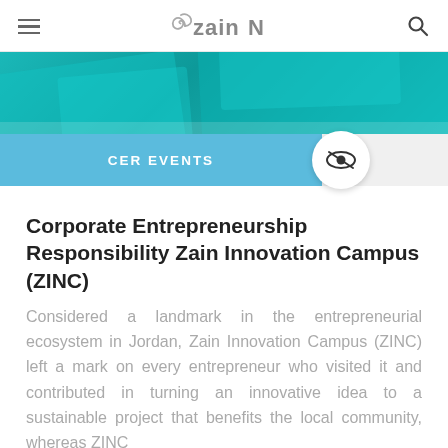Zain logo navigation bar with hamburger menu and search icon
[Figure (illustration): Teal/green decorative banner background with overlapping geometric shapes]
CER EVENTS
Corporate Entrepreneurship Responsibility Zain Innovation Campus (ZINC)
Considered a landmark in the entrepreneurial ecosystem in Jordan, Zain Innovation Campus (ZINC) left a mark on every entrepreneur who visited it and contributed in turning an innovative idea to a sustainable project that benefits the local community, whereas ZINC